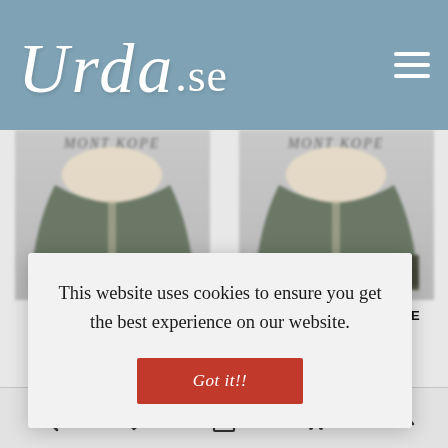Urda.se
[Figure (screenshot): Two product thumbnails showing children's capes in blue cotton, partially visible, blurred]
CHILDRENS CAPE, BLUE COTTON SIZE 3-4
CHILDRENS CAPE, BLUE COTTON SIZE 7-8
This website uses cookies to ensure you get the best experience on our website.
Got it!!
Navigation icons: search, heart, bag, cart, up-arrow